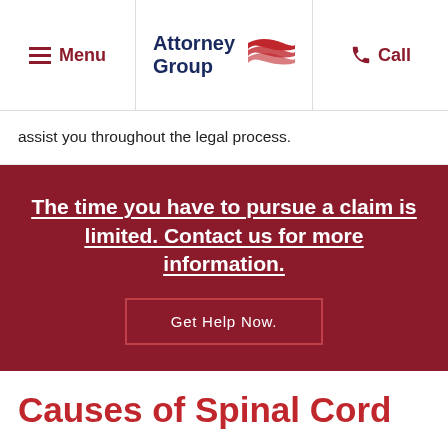Menu | Attorney Group | Call
assist you throughout the legal process.
The time you have to pursue a claim is limited. Contact us for more information.
Get Help Now.
Causes of Spinal Cord